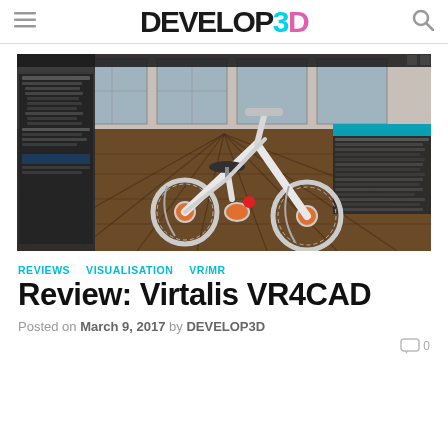DEVELOP3D
[Figure (screenshot): Screenshot of VR4CAD software showing a white folding bicycle (Strida-style) displayed in a 3D virtual room with wooden floor. Software panels are visible on the left and right sides of the interface.]
REVIEWS
VISUALISATION
VR/MR
Review: Virtalis VR4CAD
Posted on March 9, 2017 by DEVELOP3D